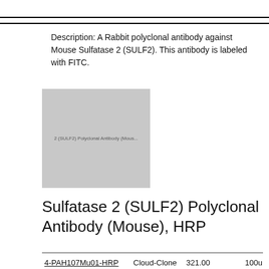Description: A Rabbit polyclonal antibody against Mouse Sulfatase 2 (SULF2). This antibody is labeled with FITC.
[Figure (photo): Product image placeholder showing '2 (SULF2) Polyclonal Antibody (Mous...' text overlay on grey background]
Sulfatase 2 (SULF2) Polyclonal Antibody (Mouse), HRP
| Catalog No. | Supplier | Price | Size |
| --- | --- | --- | --- |
| 4-PAH107Mu01-HRP | Cloud-Clone | 321.00 EUR
2933.00 EUR
827.00 EUR
405.00 EUR | 100u
10m
1ml
200u
20ul |